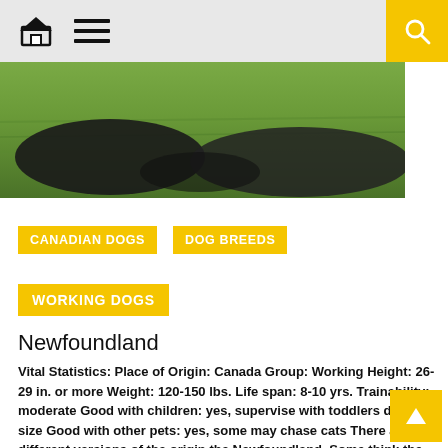Navigation header with home icon, menu icon, and search button
[Figure (photo): Partial photo of a dark-colored dog (likely Newfoundland) lying on grass, cropped at top]
CANADIAN DOGS
DOG BREEDS
WORKING DOGS
Newfoundland
Vital Statistics: Place of Origin: Canada Group: Working Height: 26-29 in. or more Weight: 120-150 lbs. Life span: 8-10 yrs. Trainability: moderate Good with children: yes, supervise with toddlers due to size Good with other pets: yes, some may chase cats There are different versions of the origin the Newfoundland. Some think the Vikings may [...]